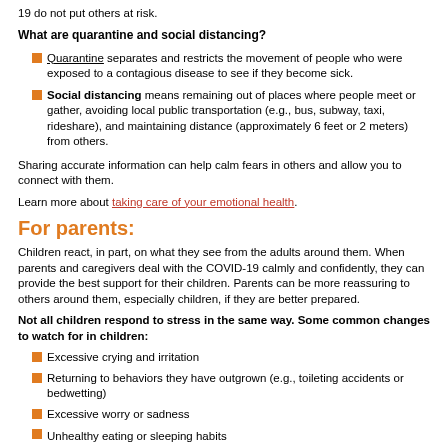19 do not put others at risk.
What are quarantine and social distancing?
Quarantine separates and restricts the movement of people who were exposed to a contagious disease to see if they become sick.
Social distancing means remaining out of places where people meet or gather, avoiding local public transportation (e.g., bus, subway, taxi, rideshare), and maintaining distance (approximately 6 feet or 2 meters) from others.
Sharing accurate information can help calm fears in others and allow you to connect with them.
Learn more about taking care of your emotional health.
For parents:
Children react, in part, on what they see from the adults around them. When parents and caregivers deal with the COVID-19 calmly and confidently, they can provide the best support for their children. Parents can be more reassuring to others around them, especially children, if they are better prepared.
Not all children respond to stress in the same way. Some common changes to watch for in children:
Excessive crying and irritation
Returning to behaviors they have outgrown (e.g., toileting accidents or bedwetting)
Excessive worry or sadness
Unhealthy eating or sleeping habits